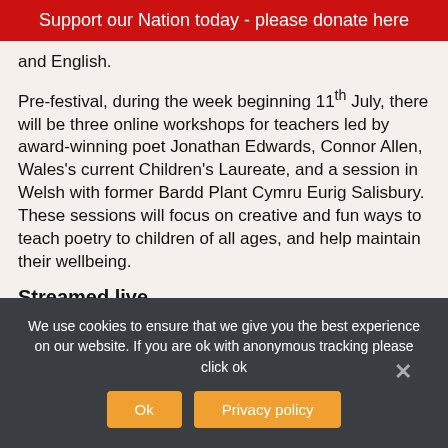Support our Nation today - please donate here
and English.
Pre-festival, during the week beginning 11th July, there will be three online workshops for teachers led by award-winning poet Jonathan Edwards, Connor Allen, Wales's current Children's Laureate, and a session in Welsh with former Bardd Plant Cymru Eurig Salisbury. These sessions will focus on creative and fun ways to teach poetry to children of all ages, and help maintain their wellbeing.
Streamed live
We use cookies to ensure that we give you the best experience on our website. If you are ok with anonymous tracking please click ok